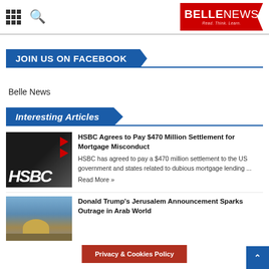BELLE NEWS — Read. Think. Learn.
JOIN US ON FACEBOOK
Belle News
Interesting Articles
[Figure (photo): HSBC bank logo sign with red arrow mark]
HSBC Agrees to Pay $470 Million Settlement for Mortgage Misconduct
HSBC has agreed to pay a $470 million settlement to the US government and states related to dubious mortgage lending ...
Read More »
[Figure (photo): Jerusalem cityscape with golden dome]
Donald Trump's Jerusalem Announcement Sparks Outrage in Arab World
Privacy & Cookies Policy